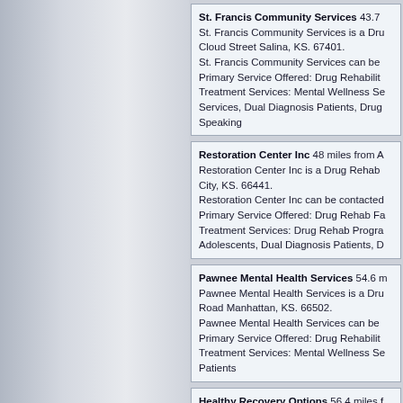St. Francis Community Services 43.7 miles from A. St. Francis Community Services is a Drug Rehab located at Cloud Street Salina, KS. 67401. St. Francis Community Services can be contacted... Primary Service Offered: Drug Rehabilitation. Treatment Services: Mental Wellness Services, Dual Diagnosis Patients, Drug... Speaking
Restoration Center Inc 48 miles from A. Restoration Center Inc is a Drug Rehab located at City, KS. 66441. Restoration Center Inc can be contacted... Primary Service Offered: Drug Rehab Facility. Treatment Services: Drug Rehab Programs, Adolescents, Dual Diagnosis Patients, D...
Pawnee Mental Health Services 54.6 miles. Pawnee Mental Health Services is a Drug Rehab located at Road Manhattan, KS. 66502. Pawnee Mental Health Services can be contacted... Primary Service Offered: Drug Rehabilitation. Treatment Services: Mental Wellness Services... Patients
Healthy Recovery Options 56.4 miles. Healthy Recovery Options is a Drug Treatment located at Manhattan, KS. 66502. Healthy Recovery Options can be contacted... Primary Service Offered: Drug Treatment...